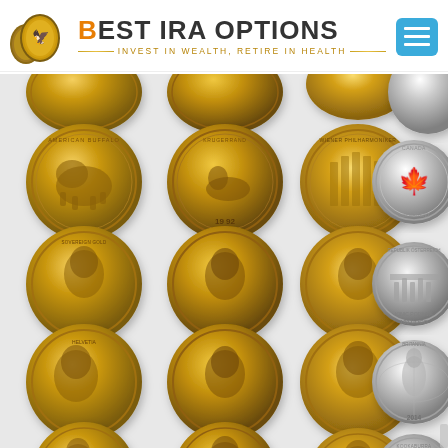[Figure (logo): Best IRA Options website header with logo showing two gold coins, brand name 'BEST IRA OPTIONS' with orange B, tagline 'INVEST IN WEALTH, RETIRE IN HEALTH', and a blue hamburger menu button]
[Figure (photo): Grid of gold and silver coins arranged in 5 rows and 4 columns. Three columns show gold coins (American Buffalo, Krugerrand, Philharmoniker, various historical portrait coins, and commemorative coins). The fourth column shows silver coins (American Eagle, Canadian Maple Leaf, Austrian Philharmoniker, Britannia 2014, Australian Kookaburra).]